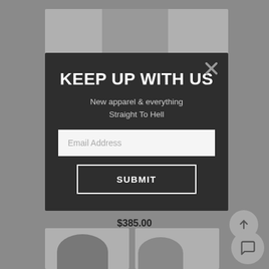[Figure (screenshot): E-commerce page background showing product cards with model photos on a grey background, with a price tag of $385.00 and bottom navigation buttons]
KEEP UP WITH US
New apparel & everything Straight To Hell
Email Address
SUBMIT